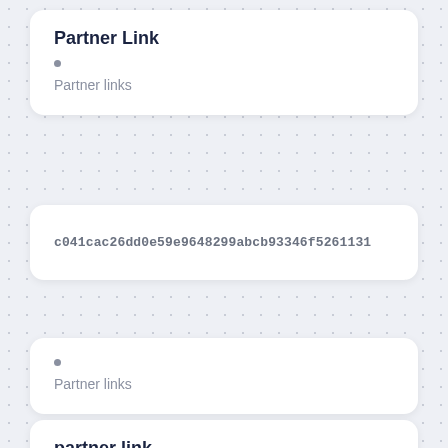Partner Link
Partner links
c041cac26dd0e59e9648299abcb93346f5261131
Partner links
partner link